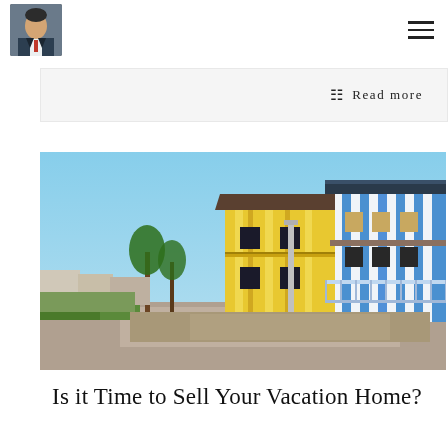[Figure (photo): Profile photo of a man in a suit, used as avatar/logo in the page header]
Read more
[Figure (photo): Colorful striped beach vacation houses along a promenade with palm trees and blue sky]
Is it Time to Sell Your Vacation Home?
The next line of teaser text beginning below the title